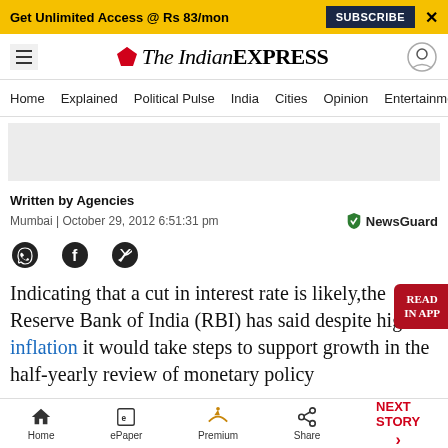Get Unlimited Access @ Rs 83/mon  SUBSCRIBE  X
The Indian EXPRESS
Home  Explained  Political Pulse  India  Cities  Opinion  Entertainment
Written by Agencies
Mumbai | October 29, 2012 6:51:31 pm
Indicating that a cut in interest rate is likely,the Reserve Bank of India (RBI) has said despite high inflation it would take steps to support growth in the half-yearly review of monetary policy
Home  ePaper  Premium  Share  NEXT STORY